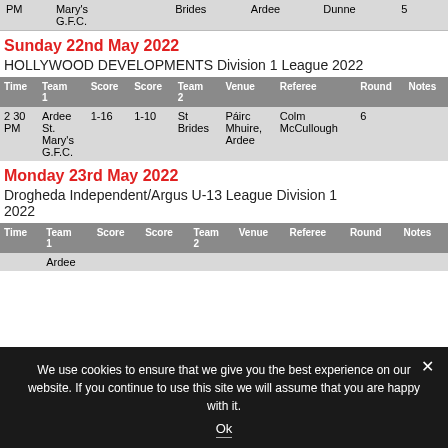| Time | Team 1 | Score | Score | Team 2 | Venue | Referee | Round | Notes |
| --- | --- | --- | --- | --- | --- | --- | --- | --- |
| PM | Mary's G.F.C. |  |  | Brides | Ardee | Dunne | 5 |  |
Sunday 22nd May 2022
HOLLYWOOD DEVELOPMENTS Division 1 League 2022
| Time | Team 1 | Score | Score | Team 2 | Venue | Referee | Round | Notes |
| --- | --- | --- | --- | --- | --- | --- | --- | --- |
| 2 30 PM | Ardee St. Mary's G.F.C. | 1-16 | 1-10 | St Brides | Páirc Mhuire, Ardee | Colm McCullough | 6 |  |
Monday 23rd May 2022
Drogheda Independent/Argus U-13 League Division 1 2022
| Time | Team 1 | Score | Score | Team 2 | Venue | Referee | Round | Notes |
| --- | --- | --- | --- | --- | --- | --- | --- | --- |
|  | Ardee |  |  |  |  |  |  |  |
We use cookies to ensure that we give you the best experience on our website. If you continue to use this site we will assume that you are happy with it.